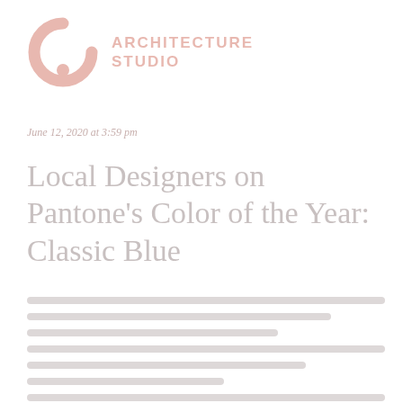[Figure (logo): Architecture Studio logo: abstract circular arc shape in light pink/salmon, with text ARCHITECTURE STUDIO to the right]
June 12, 2020 at 3:59 pm
Local Designers on Pantone’s Color of the Year: Classic Blue
[body text lines — faded/watermarked body content]